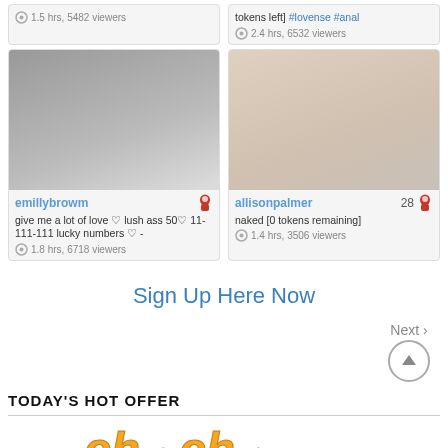[Figure (photo): Top row card left - partial view, 1.5 hrs 5482 viewers]
[Figure (photo): Top row card right - tokens left #lovense #anal, 2.4 hrs 6532 viewers]
[Figure (photo): emillybrowm card with photo - give me a lot of love, lush ass 50 11-111-111 lucky numbers, 1.8 hrs 6718 viewers]
[Figure (photo): allisonpalmer card count 28 - naked [0 tokens remaining], 1.4 hrs 3506 viewers]
Sign Up Here Now
Next >
TODAY'S HOT OFFER
[Figure (logo): Partial stylized orange logo text at bottom]